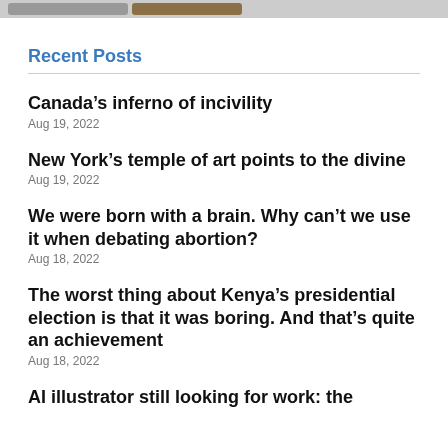[browser tab bar with navigation elements]
Recent Posts
Canada’s inferno of incivility
Aug 19, 2022
New York’s temple of art points to the divine
Aug 19, 2022
We were born with a brain. Why can’t we use it when debating abortion?
Aug 18, 2022
The worst thing about Kenya’s presidential election is that it was boring. And that’s quite an achievement
Aug 18, 2022
AI illustrator still looking for work: the